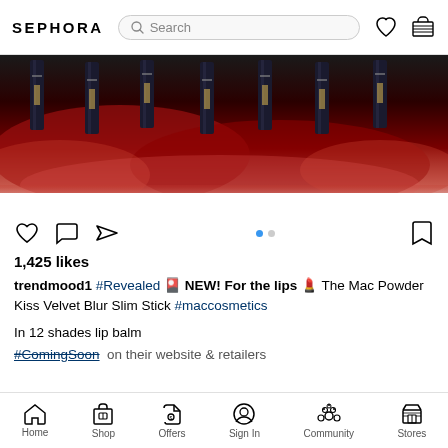SEPHORA  Search
[Figure (photo): Multiple dark navy/black MAC lipstick tubes arranged vertically above swirling deep red/crimson smoke or liquid on a white background]
1,425 likes
trendmood1 #Revealed 🎴 NEW! For the lips 💄 The Mac Powder Kiss Velvet Blur Slim Stick #maccosmetics

In 12 shades lip balm

#ComingSoon on their website & retailers
Home  Shop  Offers  Sign In  Community  Stores